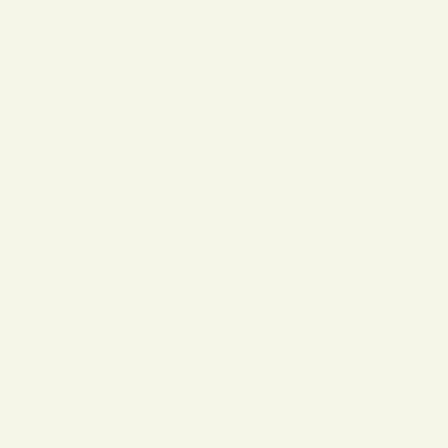| Model Number: PP196AL | Added to Inventory on piątek, 12 kwietnia 20... |
| --- | --- |
Lewa część przedniego nosa 356
[Figure (photo): Photo of part P195AL - left front nose section]
| Price: 10080,00zł | Manufacturer: |
| --- | --- |
| Model Number: PP195AL | Added to Inventory on piątek, 12 kwietnia 20... |
Lewa rynienka nosa pod przednia...
[Figure (photo): Photo of part P161AL - left nose gutter under front]
| Price: 880,00zł | Manufacturer: |
| --- | --- |
| Model Number: PP161AL | Added to Inventory on piątek, 12 kwietnia 20... |